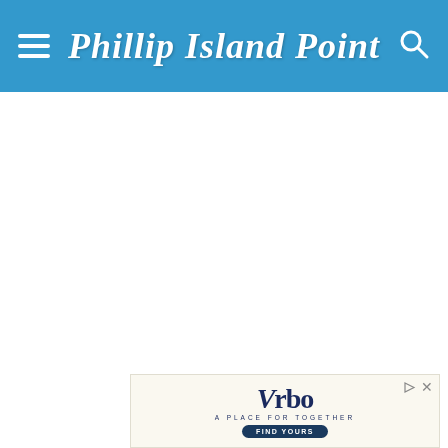Phillip Island Point
[Figure (screenshot): White blank content area below the header navigation bar]
[Figure (screenshot): Vrbo advertisement banner with logo, tagline 'A Place For Together', and 'Find Yours' button on cream background]